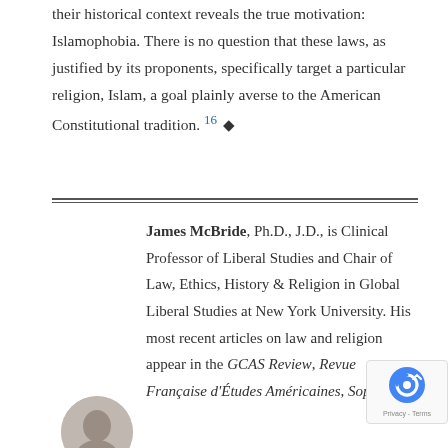their historical context reveals the true motivation: Islamophobia. There is no question that these laws, as justified by its proponents, specifically target a particular religion, Islam, a goal plainly averse to the American Constitutional tradition. 16 ♦
James McBride, Ph.D., J.D., is Clinical Professor of Liberal Studies and Chair of Law, Ethics, History & Religion in Global Liberal Studies at New York University. His most recent articles on law and religion appear in the GCAS Review, Revue Française d'Études Américaines, Sophia